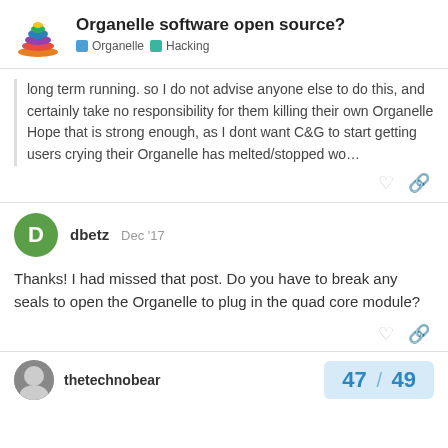Organelle software open source? | Organelle | Hacking
long term running. so I do not advise anyone else to do this, and certainly take no responsibility for them killing their own Organelle Hope that is strong enough, as I dont want C&G to start getting users crying their Organelle has melted/stopped wo…
dbetz  Dec '17
Thanks! I had missed that post. Do you have to break any seals to open the Organelle to plug in the quad core module?
thetechnobear  47 / 49